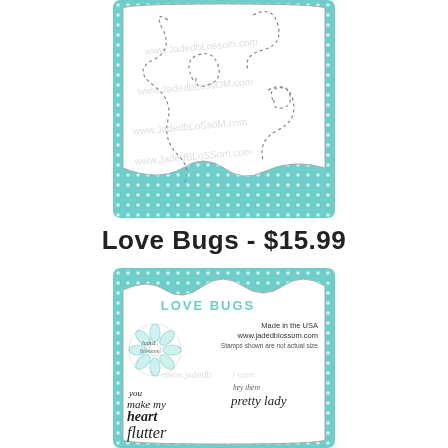[Figure (illustration): Top view of a stamp product card with teal polka-dot border and white center showing dashed swirl/bug outline stamp designs with www.jadedblossom.com watermark repeated]
Love Bugs - $15.99
[Figure (illustration): Bottom view of same stamp product package showing back of card with 'LOVE BUGS' title in teal, Jaded Blossom logo, 'Made in the USA', 'www.jadedblossom.com', 'Stamps shown are not actual size', and script stamp text samples: 'you make my heart flutter', 'hey there pretty lady', and more]